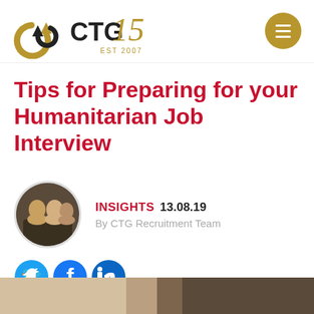[Figure (logo): CTG 15 logo with circular arrow icon and EST 2007 text]
Tips for Preparing for your Humanitarian Job Interview
[Figure (photo): Circular profile photo of CTG Recruitment Team members]
INSIGHTS 13.08.19 By CTG Recruitment Team
[Figure (infographic): Social media share icons: Twitter, Facebook, LinkedIn]
[Figure (photo): Partial photo strip at bottom of page]